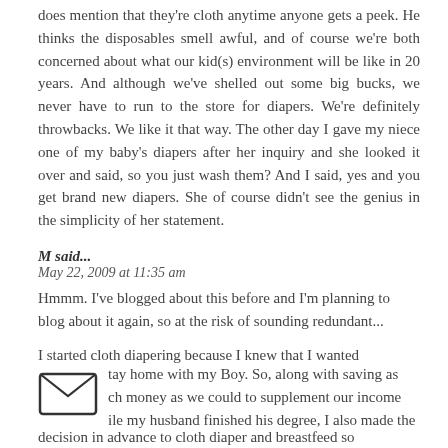does mention that they're cloth anytime anyone gets a peek. He thinks the disposables smell awful, and of course we're both concerned about what our kid(s) environment will be like in 20 years. And although we've shelled out some big bucks, we never have to run to the store for diapers. We're definitely throwbacks. We like it that way. The other day I gave my niece one of my baby's diapers after her inquiry and she looked it over and said, so you just wash them? And I said, yes and you get brand new diapers. She of course didn't see the genius in the simplicity of her statement.
M said...
May 22, 2009 at 11:35 am
Hmmm. I've blogged about this before and I'm planning to blog about it again, so at the risk of sounding redundant...
I started cloth diapering because I knew that I wanted to stay home with my Boy. So, along with saving as much money as we could to supplement our income while my husband finished his degree, I also made the decision in advance to cloth diaper and breastfeed so